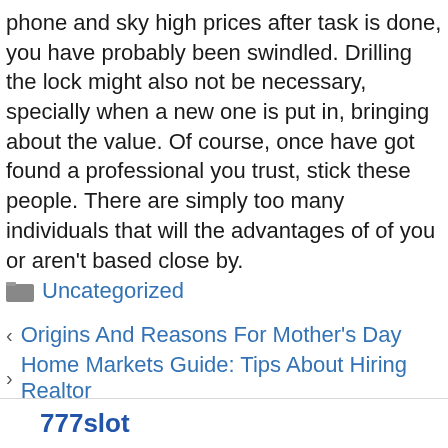phone and sky high prices after task is done, you have probably been swindled. Drilling the lock might also not be necessary, specially when a new one is put in, bringing about the value. Of course, once have got found a professional you trust, stick these people. There are simply too many individuals that will the advantages of of you or aren't based close by.
Uncategorized
Origins And Reasons For Mother's Day
Home Markets Guide: Tips About Hiring Realtor
777slot